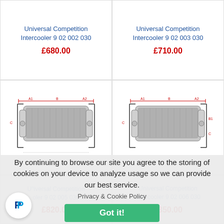Universal Competition Intercooler 9 02 002 030
£680.00
Universal Competition Intercooler 9 02 003 030
£710.00
[Figure (photo): Technical diagram of intercooler product]
[Figure (photo): Technical diagram of intercooler product]
By continuing to browse our site you agree to the storing of cookies on your device to analyze usage so we can provide our best service.
Privacy & Cookie Policy
Got it!
Universal Competition Intercooler 9 02 005 030
£820.00
Universal Competition Intercooler 9 02 006 030
£850.00